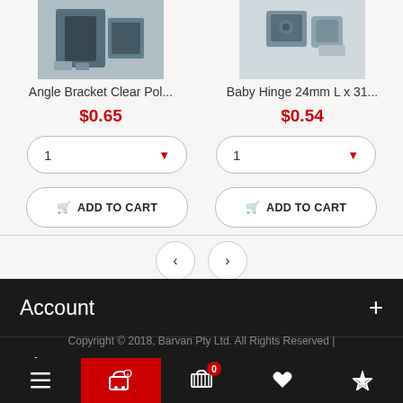[Figure (photo): Product image of Angle Bracket Clear Polished]
[Figure (photo): Product image of Baby Hinge 24mm L x 31...]
Angle Bracket Clear Pol...
Baby Hinge 24mm L x 31...
$0.65
$0.54
ADD TO CART
ADD TO CART
Account
About Us
Copyright © 2018, Barvan Pty Ltd. All Rights Reserved |